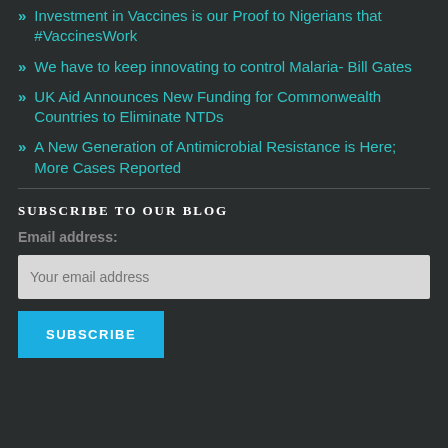Investment in Vaccines is our Proof to Nigerians that #VaccinesWork
We have to keep innovating to control Malaria- Bill Gates
UK Aid Announces New Funding for Commonwealth Countries to Eliminate NTDs
A New Generation of Antimicrobial Resistance is Here; More Cases Reported
SUBSCRIBE TO OUR BLOG
Email address:
Your email address
SUBSCRIBE